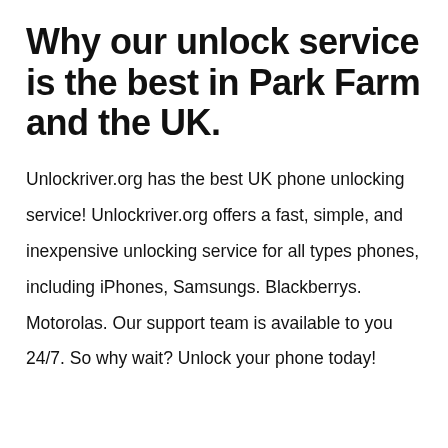Why our unlock service is the best in Park Farm and the UK.
Unlockriver.org has the best UK phone unlocking service! Unlockriver.org offers a fast, simple, and inexpensive unlocking service for all types phones, including iPhones, Samsungs. Blackberrys. Motorolas. Our support team is available to you 24/7. So why wait? Unlock your phone today!